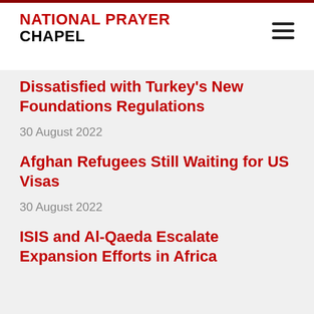NATIONAL PRAYER CHAPEL
Dissatisfied with Turkey's New Foundations Regulations
30 August 2022
Afghan Refugees Still Waiting for US Visas
30 August 2022
ISIS and Al-Qaeda Escalate Expansion Efforts in Africa